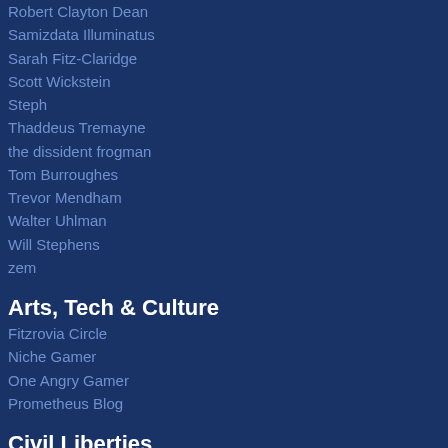Robert Clayton Dean
Samizdata Illuminatus
Sarah Fitz-Claridge
Scott Wickstein
Steph
Thaddeus Tremayne
the dissident frogman
Tom Burroughes
Trevor Mendham
Walter Uhlman
Will Stephens
zem
Arts, Tech & Culture
Fitzrovia Circle
Niche Gamer
One Angry Gamer
Prometheus Blog
Civil Liberties
British Freedom
Cato @ Liberty
Daily Sceptic (former Lockdown Sceptics)
David Thunder
Electronic Frontier Foundation
kenham). Education & Academia. Tot
[Figure (logo): samizdata.net text banner with blue border]
[Figure (photo): Photo of a firearm/scope with a triangular logo overlay and samizdata.net label below]